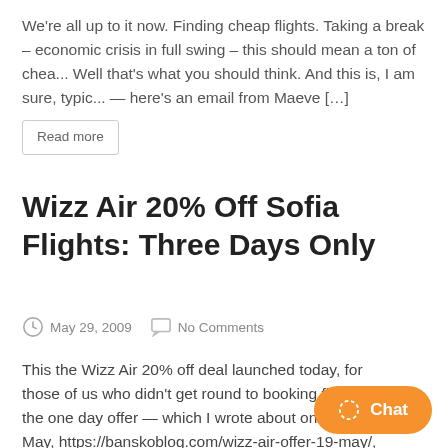We're all up to it now. Finding cheap flights. Taking a break – economic crisis in full swing – this should mean a ton of chea... Well that's what you should think. And this is, I am sure, typic... — here's an email from Maeve […]
Read more
Wizz Air 20% Off Sofia Flights: Three Days Only
May 29, 2009   No Comments
This the Wizz Air 20% off deal launched today, for those of us who didn't get round to booking flights in the one day offer — which I wrote about on the 19th May, https://banskoblog.com/wizz-air-offer-19-may/, we have a second chance. Wizz Air fly to a load of destinations in